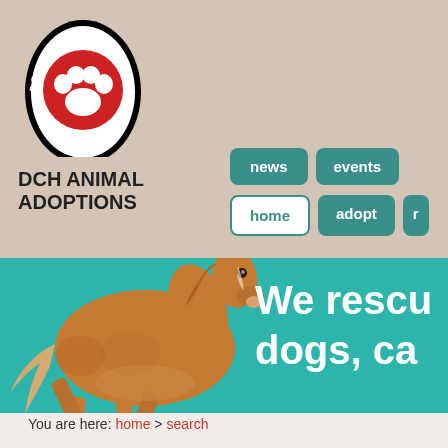[Figure (logo): DCH Animal Adoptions logo — shield shape with red paw print and text 'DOG CAT HORSE' around the border]
DCH ANIMAL ADOPTIONS
[Figure (screenshot): Website screenshot showing navigation buttons: news, events, home, adopt, and a running horse on teal background with text 'We rescu... dogs, ca...']
You are here: home > search